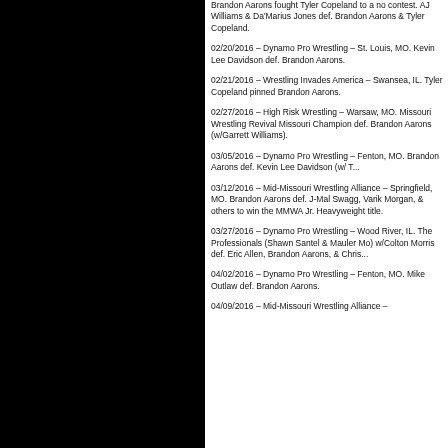Brandon Aarons fought Tyler Copeland to a no contest. AJ Williams & Da'Marius Jones def. Brandon Aarons & Tyler Copeland.
02/20/2016 – Dynamo Pro Wrestling – St. Louis, MO. Kevin Lee Davidson def. Brandon Aarons.
02/21/2016 – Wrestling Invades America – Swansea, IL. Tyler Copeland pinned Brandon Aarons.
02/27/2016 – High Risk Wrestling – Warsaw, MO. Missouri Wrestling Revival Missouri Champion def. Brandon Aarons (w/Garrett Williams).
03/05/2016 – Dynamo Pro Wrestling – Fenton, MO. Brandon Aarons def. Kevin Lee Davidson (w/ Trina).
03/12/2016 – Mid-Missouri Wrestling Alliance – Springfield, MO. Brandon Aarons def. J-Mal Swagg, Varik Morgan, & others to win the MMWA Jr. Heavyweight title.
03/27/2016 – Dynamo Pro Wrestling – Wood River, IL. The Professionals (Shawn Santel & Mauler Mo) w/Colton Morris def. Eric Allen, Brandon Aarons, & Chris Hargas.
04/02/2016 – Dynamo Pro Wrestling – Fenton, MO. Mike Outlaw def. Brandon Aarons.
04/09/2016 – Mid-Missouri Wrestling Alliance –